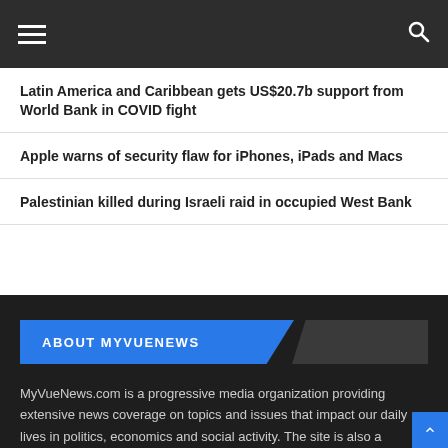MyVueNews navigation bar
Latin America and Caribbean gets US$20.7b support from World Bank in COVID fight
Apple warns of security flaw for iPhones, iPads and Macs
Palestinian killed during Israeli raid in occupied West Bank
ABOUT MYVUENEWS
MyVueNews.com is a progressive media organization providing extensive news coverage on topics and issues that impact our daily lives in politics, economics and social activity. The site is also a channel for public discussion and